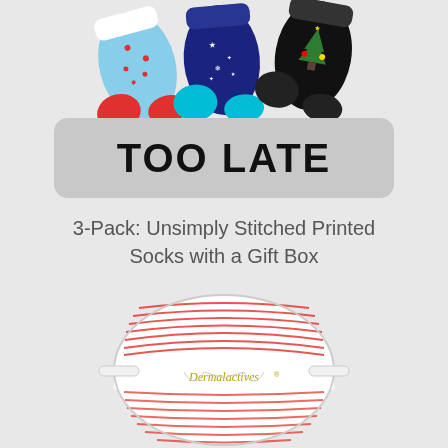[Figure (photo): Three colorful Christmas-themed ankle socks fanned out at the top of the image: one red/blue with candy cane pattern, one dark blue with snowflake pattern, one black with Christmas tree pattern]
TOO LATE
3-Pack: Unsimply Stitched Printed Socks with a Gift Box
[Figure (photo): A Dermalactives LED light therapy face mask with red LED lights arranged in horizontal lines, white frame with eyeglass-style structure and brand logo visible]